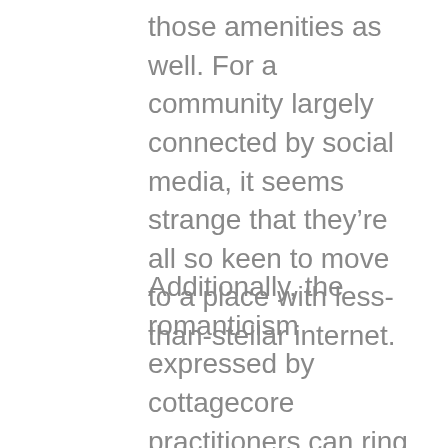those amenities as well. For a community largely connected by social media, it seems strange that they’re all so keen to move to a place with less-than-stellar internet.
Additionally, the romanticism expressed by cottagecore practitioners can ring a little hollow. The cottagecore lifestyle is a nostalgic one for sure, but what about the realities of pastoral living, of antique times? It’s safe to say